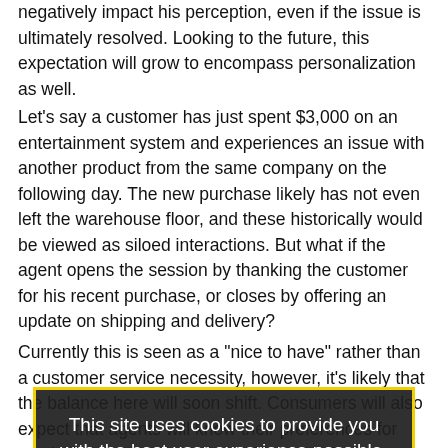negatively impact his perception, even if the issue is ultimately resolved. Looking to the future, this expectation will grow to encompass personalization as well.
Let's say a customer has just spent $3,000 on an entertainment system and experiences an issue with another product from the same company on the following day. The new purchase likely has not even left the warehouse floor, and these historically would be viewed as siloed interactions. But what if the agent opens the session by thanking the customer for his recent purchase, or closes by offering an update on shipping and delivery?
[Figure (screenshot): Cookie consent overlay with dark semi-transparent background and yellow border. Text reads: 'This site uses cookies to provide you with the best user experience possible. By continuing to use this site, you accept our use of cookies.' with a pink 'I AGREE' button.]
Currently this is seen as a "nice to have" rather than a customer service necessity, however, it's likely that the balance here will soon shift. Consumers will also expect that agents will know their preferences for service delivery, and adapt their approach accordingly.